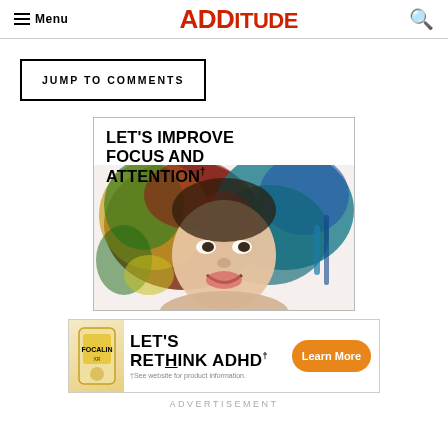Menu | ADDITUDE
JUMP TO COMMENTS
[Figure (illustration): Advertisement for a focus supplement: text 'LET'S IMPROVE FOCUS AND ATTENTION†' above a colorful painted portrait of a smiling woman with vibrant splashes of color in her hair]
[Figure (illustration): Banner advertisement: 'LET'S RETHINK ADHD!†' with product image and 'Learn More' orange button, footnote '†See website for product information.']
ADVERTISEMENT